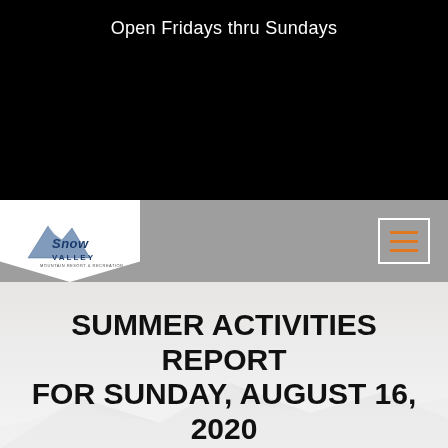Open Fridays thru Sundays
[Figure (logo): Snow Valley mountain resort logo with mountain peak graphic and stylized cursive text reading 'Snow Valley']
SUMMER ACTIVITIES REPORT FOR SUNDAY, AUGUST 16, 2020